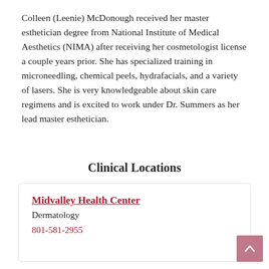Colleen (Leenie) McDonough received her master esthetician degree from National Institute of Medical Aesthetics (NIMA) after receiving her cosmetologist license a couple years prior. She has specialized training in microneedling, chemical peels, hydrafacials, and a variety of lasers. She is very knowledgeable about skin care regimens and is excited to work under Dr. Summers as her lead master esthetician.
Clinical Locations
| Midvalley Health Center | Dermatology | 801-581-2955 |